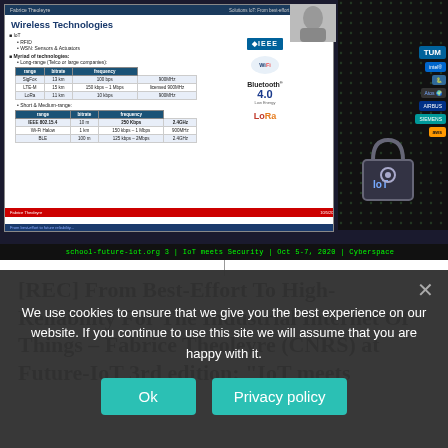[Figure (screenshot): Screenshot of a video lecture about Wireless Technologies for IoT, showing a slide with tables comparing wireless tech range, bitrate and frequency, plus logos of IEEE, Wi-Fi, Bluetooth 4.0, LoRa. Bottom shows school-future-iot.org conference footer.]
[REC] From Best-Effort To High-Reliability For The Industrial Internet Of Things – Fabrice Theoleyre (CNRS) at Future-IoT 3rd edition: "IoT meets
We use cookies to ensure that we give you the best experience on our website. If you continue to use this site we will assume that you are happy with it.
Ok   Privacy policy